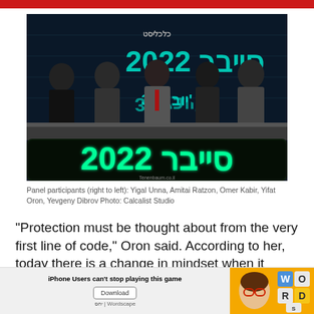[Figure (photo): TV studio panel with 5 participants seated around a desk displaying Hebrew text 'סייבר 2022' (Cyber 2022) in large green LED letters. Background shows digital data visualization.]
Panel participants (right to left): Yigal Unna, Amitai Ratzon, Omer Kabir, Yifat Oron, Yevgeny Dibrov Photo: Calcalist Studio
"Protection must be thought about from the very first line of code," Oron said. According to her, today there is a change in mindset when it comes to security of applications, according to which when developing a